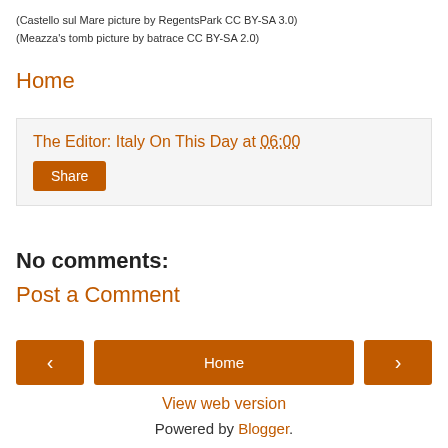(Castello sul Mare picture by RegentsPark CC BY-SA 3.0)
(Meazza's tomb picture by batrace CC BY-SA 2.0)
Home
The Editor: Italy On This Day at 06:00
Share
No comments:
Post a Comment
‹
Home
›
View web version
Powered by Blogger.